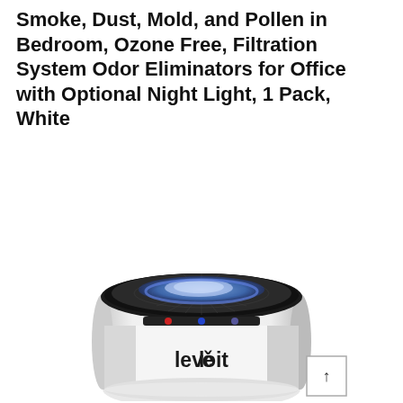Smoke, Dust, Mold, and Pollen in Bedroom, Ozone Free, Filtration System Odor Eliminators for Office with Optional Night Light, 1 Pack, White
[Figure (photo): Product photo of a white cylindrical Levoit air purifier viewed from a top-front angle, showing the top HEPA filter grill with blue night light illumination, control buttons on the front, and the Levoit logo on the body.]